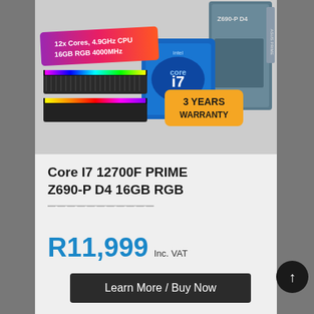[Figure (photo): Product bundle image showing RGB RAM sticks, Intel Core i7 CPU box, and ASUS PRIME Z690-P D4 motherboard box. Overlaid badges: purple/pink diagonal ribbon reading '12x Cores, 4.9GHz CPU / 16GB RGB 4000MHz' and an orange rounded badge reading '3 YEARS WARRANTY'.]
Core I7 12700F PRIME Z690-P D4 16GB RGB
R11,999 Inc. VAT
Learn More / Buy Now